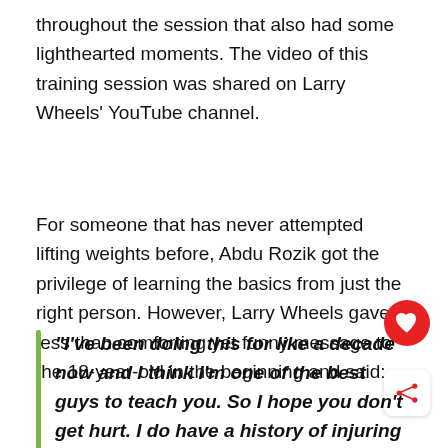throughout the session that also had some lighthearted moments. The video of this training session was shared on Larry Wheels' YouTube channel.
For someone that has never attempted lifting weights before, Abdu Rozik got the privilege of learning the basics from just the right person. However, Larry Wheels gave a less than comforting yet funny message to the 18-year-old in the beginning and said:
“I’ve been doing this for like a decade now and I think I’m one of the best guys to teach you. So I hope you don’t get hurt. I do have a history of injuring my training partners but I think you’re in good hands today!”